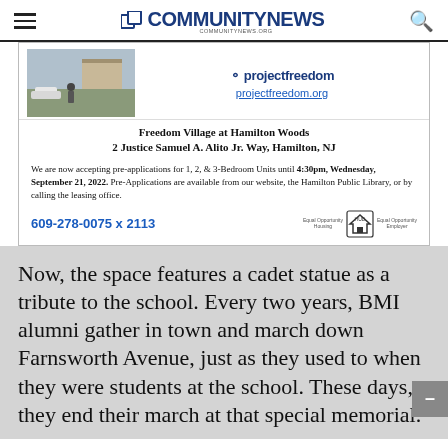COMMUNITY NEWS communitynews.org
[Figure (infographic): Advertisement for Freedom Village at Hamilton Woods showing a photo of the housing complex, projectfreedom.org URL, address, pre-application information, phone number 609-278-0075 x 2113, Equal Opportunity Housing and Employer logos.]
Now, the space features a cadet statue as a tribute to the school. Every two years, BMI alumni gather in town and march down Farnsworth Avenue, just as they used to when they were students at the school. These days, they end their march at that special memorial.